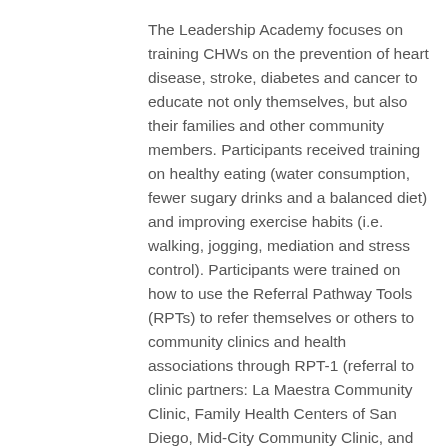The Leadership Academy focuses on training CHWs on the prevention of heart disease, stroke, diabetes and cancer to educate not only themselves, but also their families and other community members. Participants received training on healthy eating (water consumption, fewer sugary drinks and a balanced diet) and improving exercise habits (i.e. walking, jogging, mediation and stress control). Participants were trained on how to use the Referral Pathway Tools (RPTs) to refer themselves or others to community clinics and health associations through RPT-1 (referral to clinic partners: La Maestra Community Clinic, Family Health Centers of San Diego, Mid-City Community Clinic, and Operation Samahan) and RPT-2 (referral to national health associations: American Heart Association, American Stroke